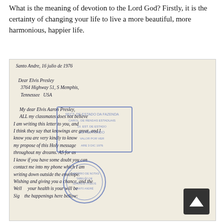What is the meaning of devotion to the Lord God? Firstly, it is the certainty of changing your life to live a more beautiful, more harmonious, happier life.
[Figure (photo): A handwritten letter dated 'Santo Andre, 16 julio de 1976' addressed to 'Dear Elvis Presley, 3764 Highway 51, S Memphis, Tennessee USA'. The letter text reads: 'My dear Elvis Aaron Presley, ALL my classmates does not believe I am writing this letter to you, and I think they say that knowings are great, and I know you are very kindly to know my propose of this Holy message throughout my dreams. AS for as I know if you have some doubt you can contact me into my phone which I am writing down outside the envelope. Wishing and giving you a chance, and the Well and health is your will be Sig the happenings here bellow:'. The letter has blue official stamps overlaid on it.]